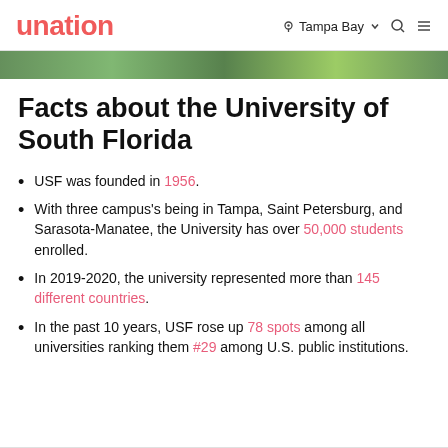unation — Tampa Bay (location) Search Menu
Facts about the University of South Florida
USF was founded in 1956.
With three campus's being in Tampa, Saint Petersburg, and Sarasota-Manatee, the University has over 50,000 students enrolled.
In 2019-2020, the university represented more than 145 different countries.
In the past 10 years, USF rose up 78 spots among all universities ranking them #29 among U.S. public institutions.